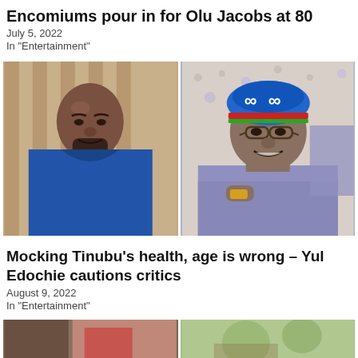Encomiums pour in for Olu Jacobs at 80
July 5, 2022
In "Entertainment"
[Figure (photo): Two side-by-side photos: left shows a bald Black man in a blue outfit; right shows an older man wearing a colorful cap and smiling, dressed in light purple/blue attire.]
Mocking Tinubu’s health, age is wrong – Yul Edochie cautions critics
August 9, 2022
In "Entertainment"
[Figure (photo): Partial photo strip at the bottom of the page showing two images side by side.]